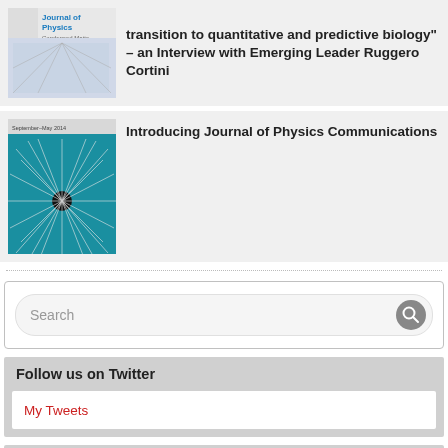[Figure (illustration): Journal of Physics Condensed Matter cover image with blue and white geometric pattern]
transition to quantitative and predictive biology" – an Interview with Emerging Leader Ruggero Cortini
[Figure (illustration): Journal of Physics Communications cover image with teal background and radial black line burst pattern]
Introducing Journal of Physics Communications
Search
Follow us on Twitter
My Tweets
Tags